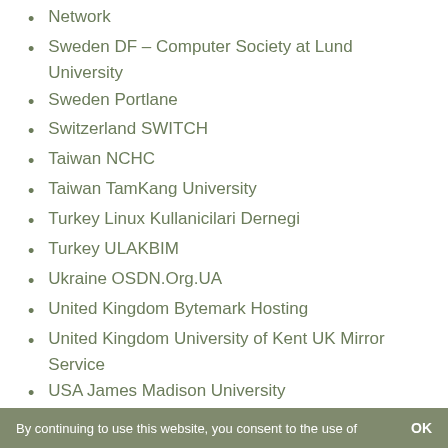Network
Sweden DF – Computer Society at Lund University
Sweden Portlane
Switzerland SWITCH
Taiwan NCHC
Taiwan TamKang University
Turkey Linux Kullanicilari Dernegi
Turkey ULAKBIM
Ukraine OSDN.Org.UA
United Kingdom Bytemark Hosting
United Kingdom University of Kent UK Mirror Service
USA James Madison University
USA Linux Freedom
USA mirrorcatalogs.com
By continuing to use this website, you consent to the use of   OK